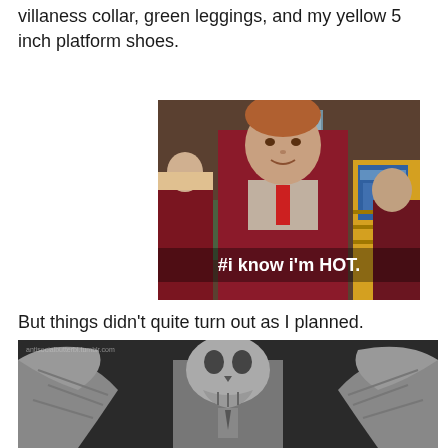villaness collar, green leggings, and my yellow 5 inch platform shoes.
[Figure (photo): TV screenshot of a teenage boy in a maroon school blazer with a red tie, smiling in a school hallway. White subtitle text reads '#i know i'm HOT.' Other students in maroon uniforms visible in background, along with a yellow cabinet with a blue poster.]
But things didn't quite turn out as I planned.
[Figure (photo): Black and white photo of a skeletal puppet/figure (resembling Jack Skellington or a Weeping Angel type creature) with wings spread, cropped so only the upper portion is visible. Small watermark text reads 'antisocialbutterbl.tumblr.com']